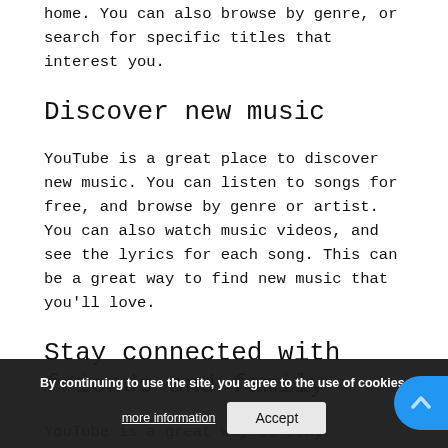home. You can also browse by genre, or search for specific titles that interest you.
Discover new music
YouTube is a great place to discover new music. You can listen to songs for free, and browse by genre or artist. You can also watch music videos, and see the lyrics for each song. This can be a great way to find new music that you'll love.
Stay connected with friends and family
YouTube is a great way to stay connected with friends and family. You can watch videos together, comment on each other's videos, and share videos with them. This can be a great way to keep in touch with people who are far away or to catch up with friends and family who live nearby.
By continuing to use the site, you agree to the use of cookies.